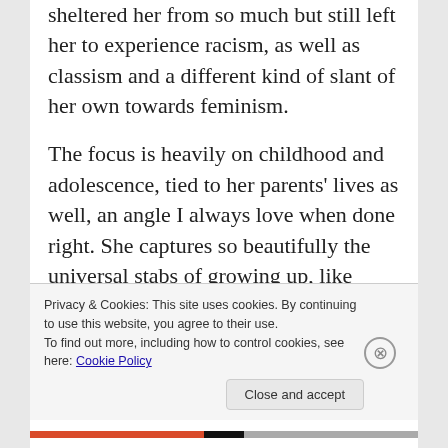sheltered her from so much but still left her to experience racism, as well as classism and a different kind of slant of her own towards feminism.
The focus is heavily on childhood and adolescence, tied to her parents' lives as well, an angle I always love when done right. She captures so beautifully the universal stabs of growing up, like lacking the confidence to say someone is your best friend because “I was always competing with others for her attention.” Jefferson is a theater and literary critic in addition to being a professor, so it also often focuses on themes around her early
Privacy & Cookies: This site uses cookies. By continuing to use this website, you agree to their use.
To find out more, including how to control cookies, see here: Cookie Policy